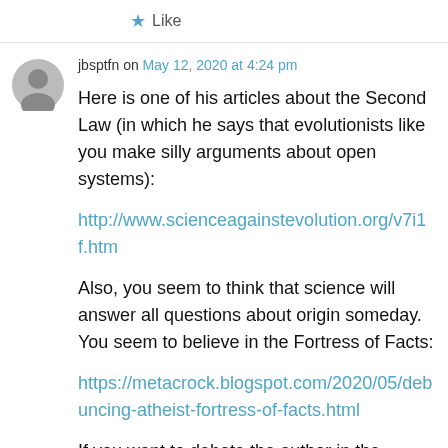★ Like
jbsptfn on May 12, 2020 at 4:24 pm
Here is one of his articles about the Second Law (in which he says that evolutionists like you make silly arguments about open systems):
http://www.scienceagainstevolution.org/v7i1f.htm
Also, you seem to think that science will answer all questions about origin someday. You seem to believe in the Fortress of Facts:
https://metacrock.blogspot.com/2020/05/debunking-atheist-fortress-of-facts.html
If you want to debate the author in the comments